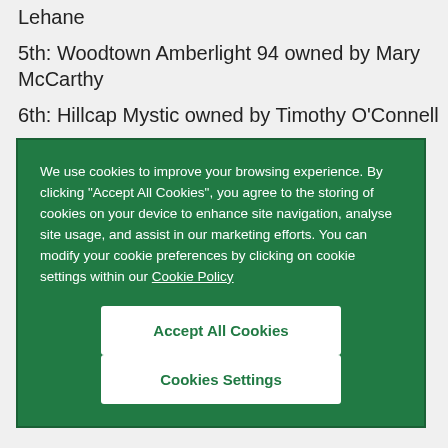Lehane
5th: Woodtown Amberlight 94 owned by Mary McCarthy
6th: Hillcap Mystic owned by Timothy O'Connell
We use cookies to improve your browsing experience. By clicking “Accept All Cookies”, you agree to the storing of cookies on your device to enhance site navigation, analyse site usage, and assist in our marketing efforts. You can modify your cookie preferences by clicking on cookie settings within our Cookie Policy
Accept All Cookies
Cookies Settings